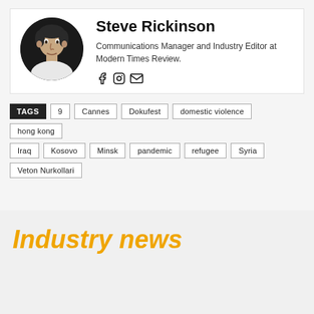[Figure (photo): Circular profile photo of Steve Rickinson, a man with short dark hair]
Steve Rickinson
Communications Manager and Industry Editor at Modern Times Review.
Social icons: Facebook, Instagram, Email
TAGS  9  Cannes  Dokufest  domestic violence  hong kong  Iraq  Kosovo  Minsk  pandemic  refugee  Syria  Veton Nurkollari
Industry news